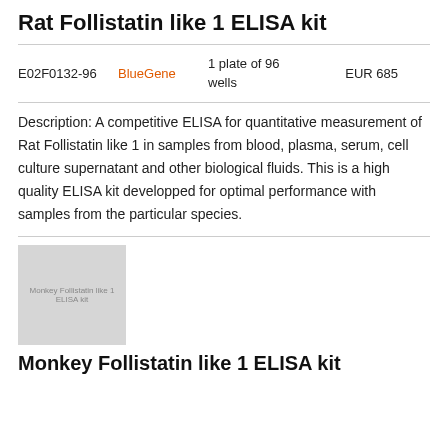Rat Follistatin like 1 ELISA kit
| Code | Brand | Size | Price |
| --- | --- | --- | --- |
| E02F0132-96 | BlueGene | 1 plate of 96 wells | EUR 685 |
Description: A competitive ELISA for quantitative measurement of Rat Follistatin like 1 in samples from blood, plasma, serum, cell culture supernatant and other biological fluids. This is a high quality ELISA kit developped for optimal performance with samples from the particular species.
[Figure (photo): Thumbnail image placeholder for Monkey Follistatin like 1 ELISA kit product]
Monkey Follistatin like 1 ELISA kit